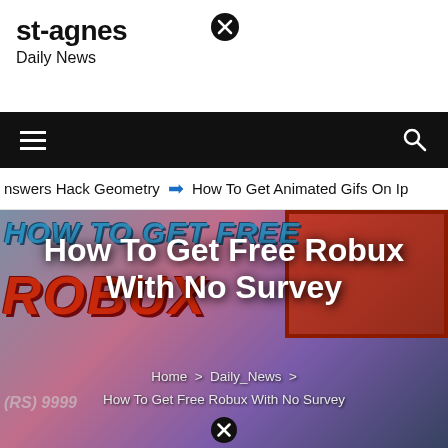st-agnes
Daily News
[Figure (screenshot): Navigation bar with hamburger menu icon on left and search icon on right, black background]
nswers Hack Geometry  ➔  How To Get Animated Gifs On Ip
[Figure (photo): Hero image showing Roblox free robux promotional image with blurred game background]
How To Get Free Robux With No Survey
Home > Daily_News > How To Get Free Robux With No Survey